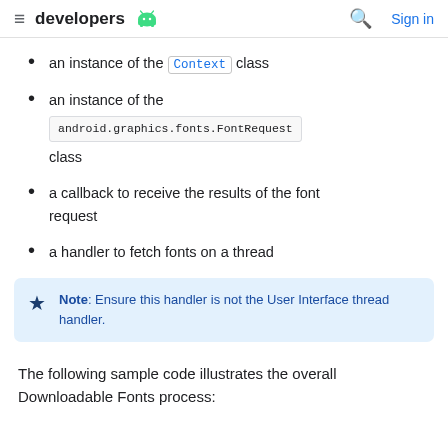developers [android logo] [search] Sign in
an instance of the Context class
an instance of the android.graphics.fonts.FontRequest class
a callback to receive the results of the font request
a handler to fetch fonts on a thread
Note: Ensure this handler is not the User Interface thread handler.
The following sample code illustrates the overall Downloadable Fonts process: